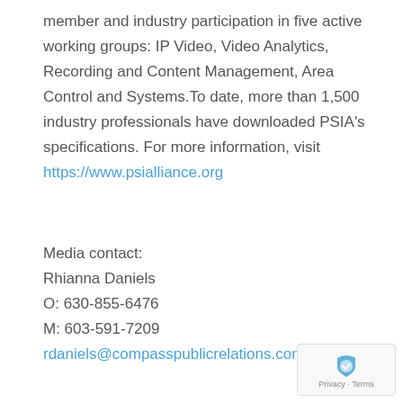member and industry participation in five active working groups: IP Video, Video Analytics, Recording and Content Management, Area Control and Systems.To date, more than 1,500 industry professionals have downloaded PSIA's specifications. For more information, visit https://www.psialliance.org
Media contact:
Rhianna Daniels
O: 630-855-6476
M: 603-591-7209
rdaniels@compasspublicrelations.com